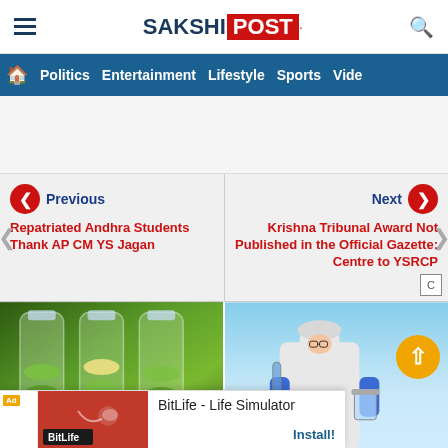SAKSHI POST
Navigation: Politics, Entertainment, Lifestyle, Sports, Vide
Previous — Repatriated Andhra Students Thank AP CM YS Jagan
Next — Krishna Tribunal Award Not Published in the Official Gazette: Centre to YSRCP
[Figure (photo): Cucumber slices in water bottles]
[Figure (photo): Scientist in white hazmat suit holding beaker and test tube]
Ad — BitLife - Life Simulator — Install!